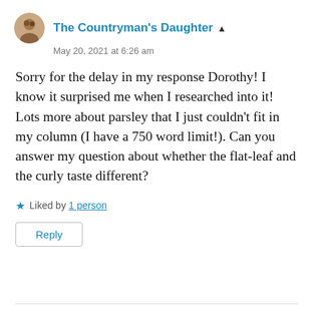[Figure (photo): Circular avatar photo of The Countryman's Daughter]
The Countryman's Daughter
May 20, 2021 at 6:26 am
Sorry for the delay in my response Dorothy! I know it surprised me when I researched into it! Lots more about parsley that I just couldn't fit in my column (I have a 750 word limit!). Can you answer my question about whether the flat-leaf and the curly taste different?
★ Liked by 1 person
Reply